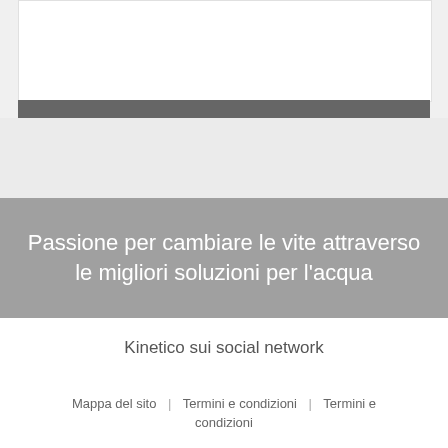[Figure (screenshot): White box with dark gray horizontal bar below it, representing top of a webpage screenshot]
Passione per cambiare le vite attraverso le migliori soluzioni per l’acqua
Kinetico sui social network
Mappa del sito | Termini e condizioni | Termini e condizioni